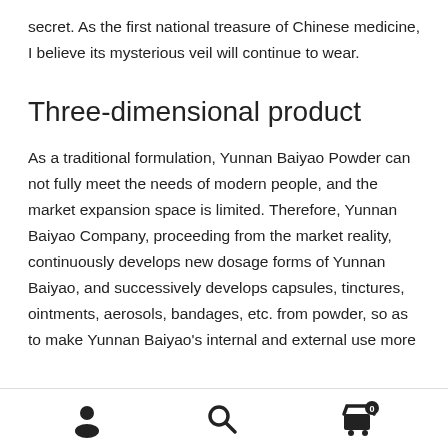secret. As the first national treasure of Chinese medicine, I believe its mysterious veil will continue to wear.
Three-dimensional product
As a traditional formulation, Yunnan Baiyao Powder can not fully meet the needs of modern people, and the market expansion space is limited. Therefore, Yunnan Baiyao Company, proceeding from the market reality, continuously develops new dosage forms of Yunnan Baiyao, and successively develops capsules, tinctures, ointments, aerosols, bandages, etc. from powder, so as to make Yunnan Baiyao's internal and external use more
user icon | search icon | cart icon with badge 0